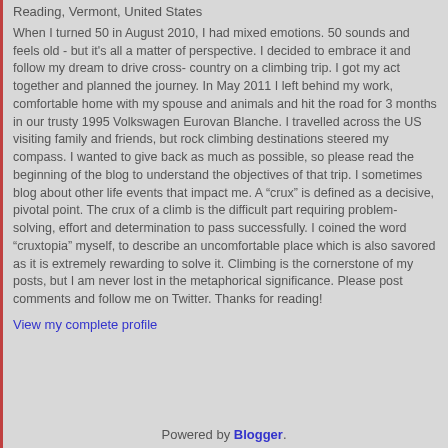Reading, Vermont, United States
When I turned 50 in August 2010, I had mixed emotions. 50 sounds and feels old - but it's all a matter of perspective. I decided to embrace it and follow my dream to drive cross-country on a climbing trip. I got my act together and planned the journey. In May 2011 I left behind my work, comfortable home with my spouse and animals and hit the road for 3 months in our trusty 1995 Volkswagen Eurovan Blanche. I travelled across the US visiting family and friends, but rock climbing destinations steered my compass. I wanted to give back as much as possible, so please read the beginning of the blog to understand the objectives of that trip. I sometimes blog about other life events that impact me. A “crux” is defined as a decisive, pivotal point. The crux of a climb is the difficult part requiring problem-solving, effort and determination to pass successfully. I coined the word “cruxtopia” myself, to describe an uncomfortable place which is also savored as it is extremely rewarding to solve it. Climbing is the cornerstone of my posts, but I am never lost in the metaphorical significance. Please post comments and follow me on Twitter. Thanks for reading!
View my complete profile
Powered by Blogger.